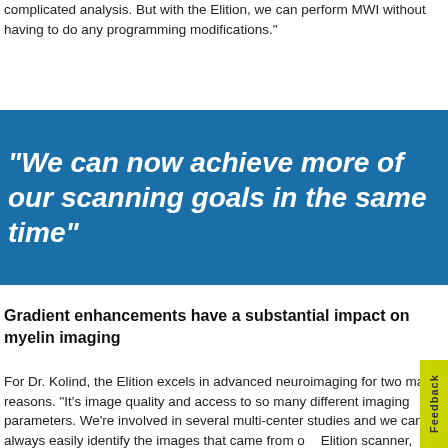complicated analysis. But with the Elition, we can perform MWI without having to do any programming modifications."
"We can now achieve more of our scanning goals in the same time"
Gradient enhancements have a substantial impact on myelin imaging
For Dr. Kolind, the Elition excels in advanced neuroimaging for two main reasons. "It's image quality and access to so many different imaging parameters. We're involved in several multi-center studies and we can always easily identify the images that came from our Elition scanner, because they are just so beautiful – even though it seems like we've set our parameters similarly to other study participants. And as a physicist, being able to do many things,